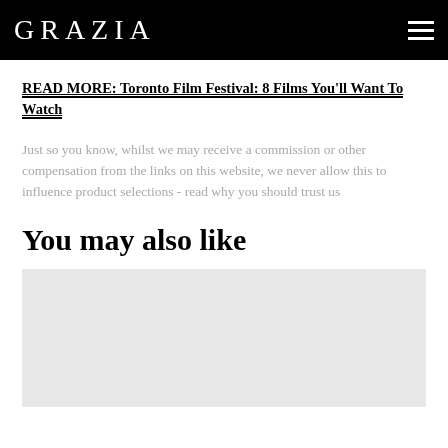GRAZIA
READ MORE: Toronto Film Festival: 8 Films You'll Want To Watch
Just so you know, whilst we may receive a commission or other compensation from the links on this website, we never allow this to influence product selections - read why you should trust us
You may also like
[Figure (photo): Light grey placeholder image block for a related article]